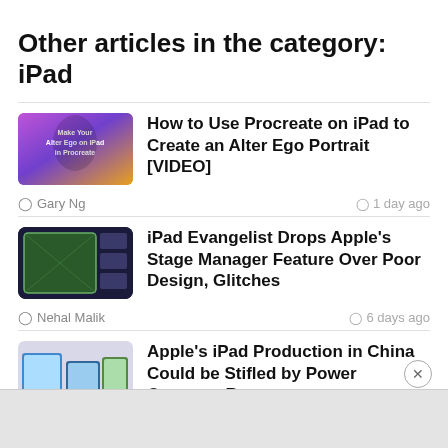Other articles in the category: iPad
[Figure (photo): Thumbnail image for Procreate article with purple/orange gradient background and text overlay]
How to Use Procreate on iPad to Create an Alter Ego Portrait [VIDEO]
Gary Ng · 1 day ago
[Figure (photo): Thumbnail showing iPad screen with Stage Manager interface, dark background with green grid pattern]
iPad Evangelist Drops Apple's Stage Manager Feature Over Poor Design, Glitches
Nehal Malik · 6 days ago
[Figure (photo): Thumbnail showing multiple iPad devices with iPadOS interface]
Apple's iPad Production in China Could be Stifled by Power Outages: Report
Neh... · ...ek ago